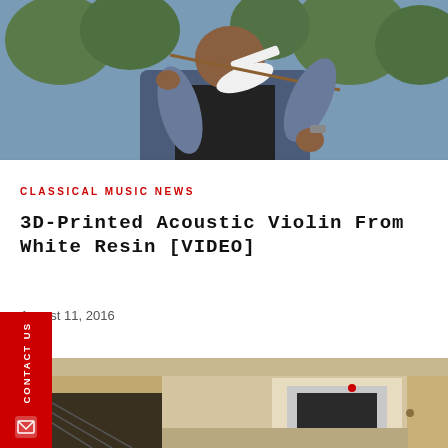[Figure (photo): A man playing a white 3D-printed violin outdoors, wearing a denim jacket, with trees in background]
CLASSICAL MUSIC NEWS
3D-Printed Acoustic Violin From White Resin [VIDEO]
August 11, 2016
[Figure (photo): Interior room photo showing what appears to be a piano or furniture in a beige/cream colored room]